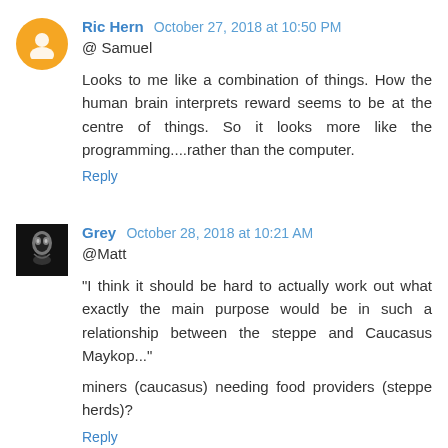Ric Hern  October 27, 2018 at 10:50 PM
@ Samuel
Looks to me like a combination of things. How the human brain interprets reward seems to be at the centre of things. So it looks more like the programming....rather than the computer.
Reply
Grey  October 28, 2018 at 10:21 AM
@Matt
"I think it should be hard to actually work out what exactly the main purpose would be in such a relationship between the steppe and Caucasus Maykop..."
miners (caucasus) needing food providers (steppe herds)?
Reply